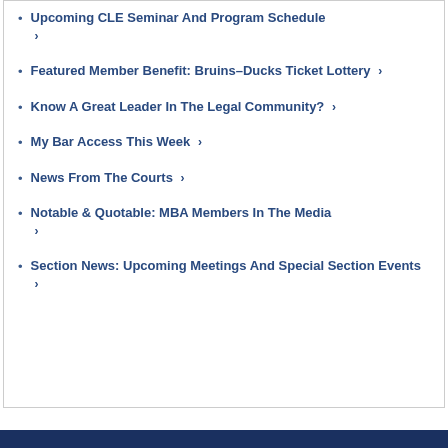Upcoming CLE Seminar And Program Schedule ›
Featured Member Benefit: Bruins-Ducks Ticket Lottery ›
Know A Great Leader In The Legal Community? ›
My Bar Access This Week ›
News From The Courts ›
Notable & Quotable: MBA Members In The Media ›
Section News: Upcoming Meetings And Special Section Events ›